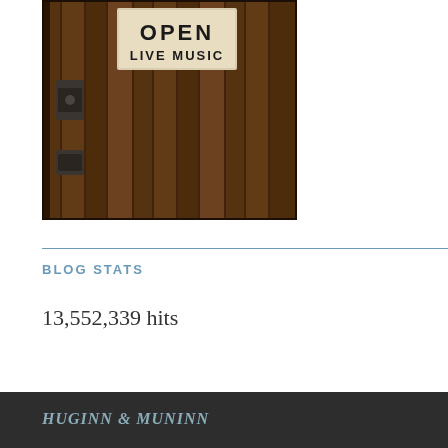[Figure (photo): A rustic wooden door or barn wall with a sign that reads 'OPEN LIVE MUSIC' in bold block letters, photographed in warm brown tones with metal hardware visible on the left side.]
BLOG STATS
13,552,339 hits
HUGINN & MUNINN